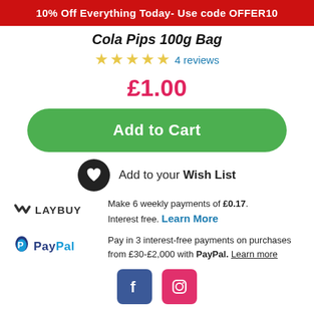10% Off Everything Today- Use code OFFER10
Cola Pips 100g Bag
4 reviews
£1.00
Add to Cart
Add to your Wish List
[Figure (logo): Laybuy logo with checkmark icon and text LAYBUY]
Make 6 weekly payments of £0.17. Interest free. Learn More
[Figure (logo): PayPal logo with P icon and PayPal text]
Pay in 3 interest-free payments on purchases from £30-£2,000 with PayPal. Learn more
[Figure (logo): Facebook and Instagram social media icons]